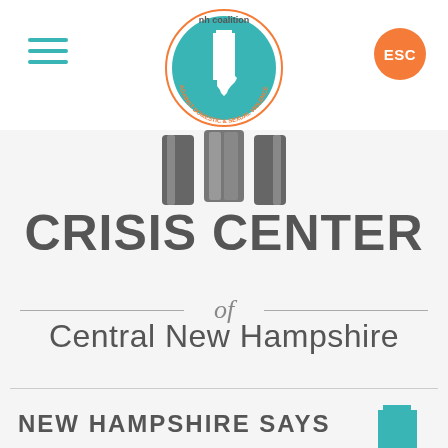[Figure (logo): NH Coalition Against Domestic & Sexual Violence circular logo with teal background and white NH state shape]
[Figure (logo): Hamburger menu icon with three teal horizontal lines]
[Figure (logo): Orange circular ESC button]
[Figure (illustration): Gray stylized door/figure icon representing crisis center]
CRISIS CENTER of Central New Hampshire
NEW HAMPSHIRE SAYS
NO MORE